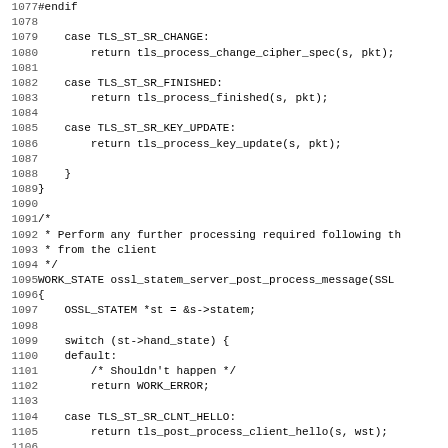Source code listing, lines 1077-1108, C language, OpenSSL TLS state machine server post process message function.